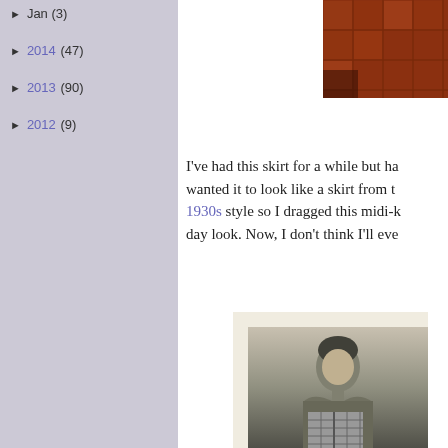► Jan (3)
► 2014 (47)
► 2013 (90)
► 2012 (9)
[Figure (photo): Partial photo of red/terracotta tile wall or roof, cropped at top right]
I've had this skirt for a while but ha... wanted it to look like a skirt from t... 1930s style so I dragged this midi-k... day look. Now, I don't think I'll eve...
[Figure (photo): Vintage black and white photograph of a woman in a checkered/plaid outfit, shown from approximately waist up, in a cream-bordered frame]